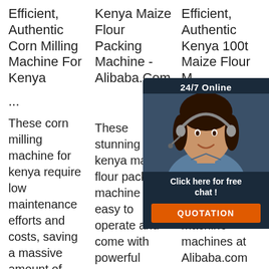Efficient, Authentic Corn Milling Machine For Kenya ...
These corn milling machine for kenya require low maintenance efforts and costs, saving a massive amount of effort and
Kenya Maize Flour Packing Machine - Alibaba.Com
These stunning kenya maize flour packing machine are easy to operate and come with powerful motors, PLC, bearings, engines and more,
Efficient, Authentic Kenya 100t Maize Flour M...
Ch... ar... ef... au... ke... m... machine machines at Alibaba.com for commercial and industrial
[Figure (illustration): Chat widget overlay with agent photo, 24/7 Online label, Click here for free chat text, and orange QUOTATION button]